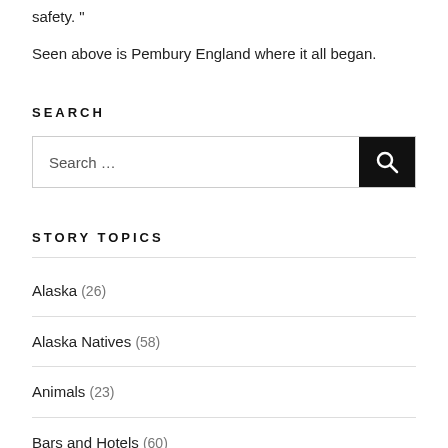safety. "
Seen above is Pembury England where it all began.
SEARCH
[Figure (other): Search input box with a black search button containing a magnifying glass icon. Placeholder text reads 'Search ...']
STORY TOPICS
Alaska (26)
Alaska Natives (58)
Animals (23)
Bars and Hotels (60)